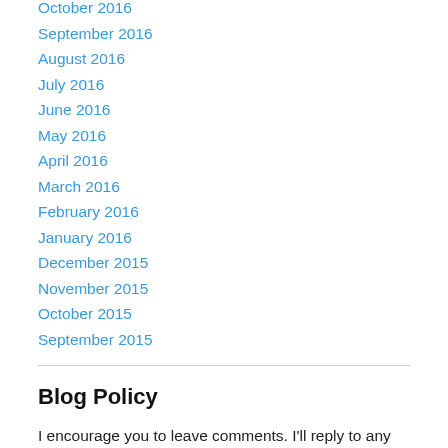October 2016
September 2016
August 2016
July 2016
June 2016
May 2016
April 2016
March 2016
February 2016
January 2016
December 2015
November 2015
October 2015
September 2015
Blog Policy
I encourage you to leave comments. I'll reply to any questions as soon as I can and errors in posts will be acknowledged in the comment area.